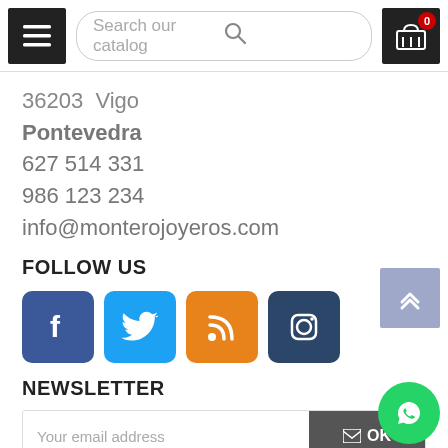Search our catalog
36203  Vigo
Pontevedra
627 514 331
986 123 234
info@monterojoyeros.com
FOLLOW US
[Figure (illustration): Social media icons: Facebook, Twitter, RSS, Instagram]
NEWSLETTER
Your email address
OK
close